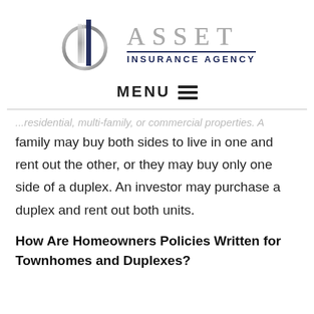[Figure (logo): Asset Insurance Agency logo with stylized building icon and gray/navy text]
MENU ☰
...residential, multi-family, or commercial properties. A family may buy both sides to live in one and rent out the other, or they may buy only one side of a duplex. An investor may purchase a duplex and rent out both units.
How Are Homeowners Policies Written for Townhomes and Duplexes?